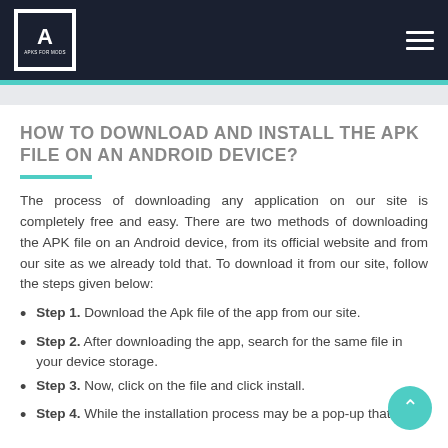Apks For Mods — navigation header
HOW TO DOWNLOAD AND INSTALL THE APK FILE ON AN ANDROID DEVICE?
The process of downloading any application on our site is completely free and easy. There are two methods of downloading the APK file on an Android device, from its official website and from our site as we already told that. To download it from our site, follow the steps given below:
Step 1. Download the Apk file of the app from our site.
Step 2. After downloading the app, search for the same file in your device storage.
Step 3. Now, click on the file and click install.
Step 4. While the installation process may be a pop-up that